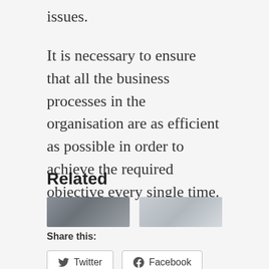issues.
It is necessary to ensure that all the business processes in the organisation are as efficient as possible in order to achieve the required objective every single time.
Share this:
Twitter
Facebook
Loading...
Related
[Figure (photo): Two related article thumbnail images at the bottom of the page]
[Figure (photo): Second related article thumbnail image]